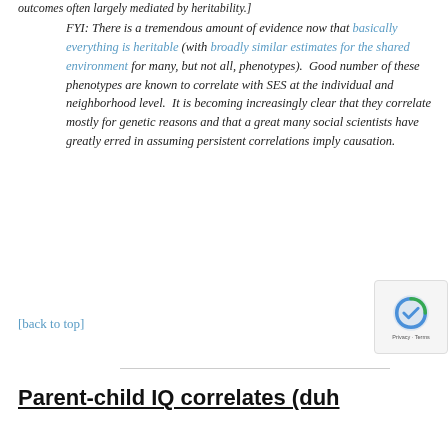outcomes often largely mediated by heritability.]
FYI: There is a tremendous amount of evidence now that basically everything is heritable (with broadly similar estimates for the shared environment for many, but not all, phenotypes). Good number of these phenotypes are known to correlate with SES at the individual and neighborhood level. It is becoming increasingly clear that they correlate mostly for genetic reasons and that a great many social scientists have greatly erred in assuming persistent correlations imply causation.
[back to top]
Parent-child IQ correlates (duh